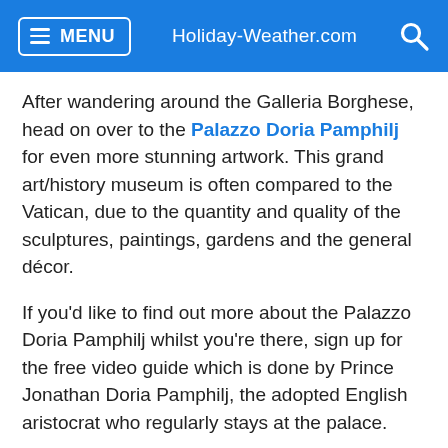MENU  Holiday-Weather.com  [search]
After wandering around the Galleria Borghese, head on over to the Palazzo Doria Pamphilj for even more stunning artwork. This grand art/history museum is often compared to the Vatican, due to the quantity and quality of the sculptures, paintings, gardens and the general décor.
If you'd like to find out more about the Palazzo Doria Pamphilj whilst you're there, sign up for the free video guide which is done by Prince Jonathan Doria Pamphilj, the adopted English aristocrat who regularly stays at the palace.
Rainbow MagicLand Theme Park
Kids will love the Rainbow MagicLand Theme Park in Valmontone, 20 minutes from the city. Here you can